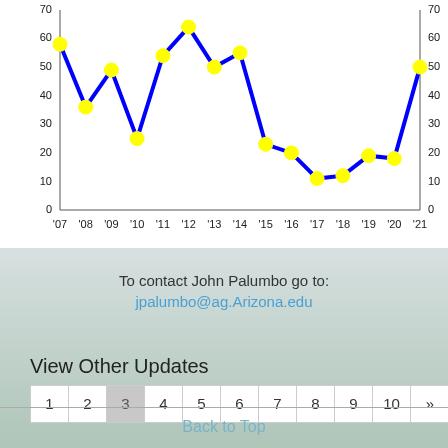[Figure (line-chart): ]
To contact John Palumbo go to:
jpalumbo@ag.Arizona.edu
View Other Updates
1 2 3 4 5 6 7 8 9 10 »
Back to Top